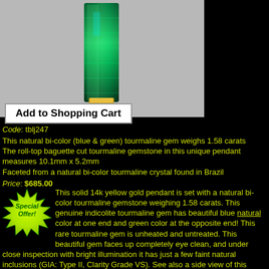[Figure (photo): Photo of a green bi-color tourmaline gemstone pendant set in gold, shown against a gray background. The gem is elongated baguette shape with deep green color.]
Add to Shopping Cart
Code: tblj247
This natural bi-color (blue & green) tourmaline gem weighs 1.58 carats
The roll-top baguette cut tourmaline gemstone in this unique pendant measures 10.1mm x 5.2mm
Faceted from a natural bi-color tourmaline crystal found in Brazil
Price: $685.00
[Figure (illustration): Special Offer starburst badge in green and yellow with text 'Special Offer!']
This solid 14k yellow gold pendant is set with a natural bi-color tourmaline gemstone weighing 1.58 carats. This genuine indicolite tourmaline gem has beautiful blue natural color at one end and green color at the opposite end! This rare tourmaline gem is unheated and untreated. This beautiful gem faces up completely eye clean, and under close inspection with bright illumination it has just a few faint natural inclusions (GIA: Type II, Clarity Grade VS). See also a side view of this natural color bi-color tourmaline pendant.